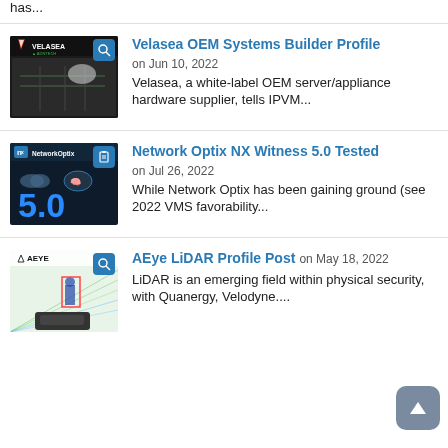has...
[Figure (screenshot): Velasea thumbnail with logo and server hardware image]
Velasea OEM Systems Builder Profile
on Jun 10, 2022
Velasea, a white-label OEM server/appliance hardware supplier, tells IPVM...
[Figure (screenshot): Network Optix NX Witness 5.0 thumbnail with dark background and 5.0 text]
Network Optix NX Witness 5.0 Tested
on Jul 26, 2022
While Network Optix has been gaining ground (see 2022 VMS favorability...
[Figure (screenshot): AEye LiDAR thumbnail with logo and product image]
AEye LiDAR Profile Post
on May 18, 2022
LiDAR is an emerging field within physical security, with Quanergy, Velodyne....